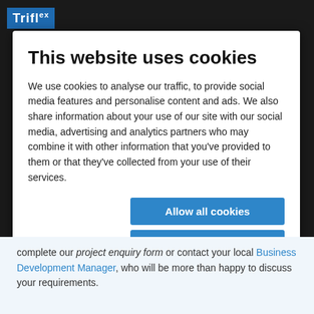This website uses cookies
We use cookies to analyse our traffic, to provide social media features and personalise content and ads. We also share information about your use of our site with our social media, advertising and analytics partners who may combine it with other information that you've provided to them or that they've collected from your use of their services.
Allow all cookies
Allow selection
Use necessary cookies only
Necessary  Preferences  Statistics  Marketing  Show details
complete our project enquiry form or contact your local Business Development Manager, who will be more than happy to discuss your requirements.